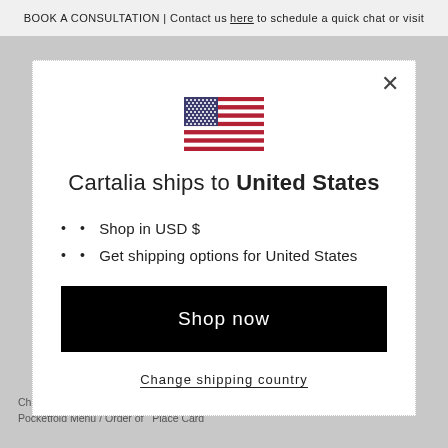BOOK A CONSULTATION | Contact us here to schedule a quick chat or visit
[Figure (illustration): US flag icon]
Cartalia ships to United States
Shop in USD $
Get shipping options for United States
Shop now
Change shipping country
Champagne Laser Cut Lace   Champagne Decorative Lace
Pocketfold Menu / Order of   Place Card